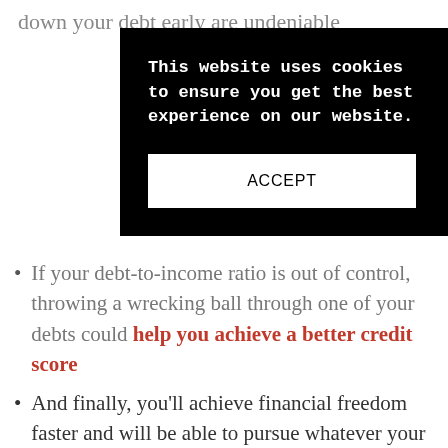down your debt early are undeniable
[Figure (screenshot): Cookie consent overlay with black background. Bold white monospace text reads: 'This website uses cookies to ensure you get the best experience on our website.' Below is a white button with text 'ACCEPT'.]
If your debt-to-income ratio is out of control, throwing a wrecking ball through one of your debts could help you achieve a better credit score
And finally, you'll achieve financial freedom faster and will be able to pursue whatever your heart desires. (Isn't that the best reason of all?)